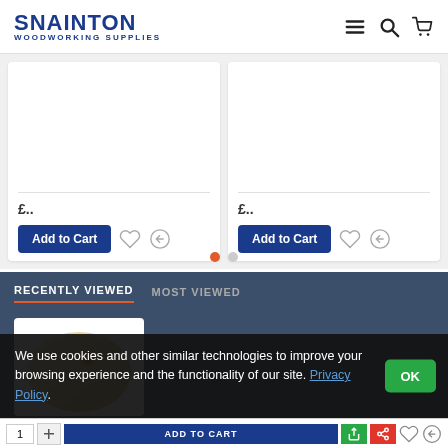SNAINTON WOODWORKING SUPPLIES
[Figure (screenshot): Two product cards each showing a price (partially visible, starting with £), an Add to Cart button, a heart/wishlist icon, and a compare icon. Below the cards are two pagination dots, the first one active (orange).]
RECENTLY VIEWED | MOST VIEWED
[Figure (photo): A white product card showing a close-up photo of a light wood/veneer piece with natural grain pattern, on a dark navy background.]
We use cookies and other similar technologies to improve your browsing experience and the functionality of our site. Privacy Policy.